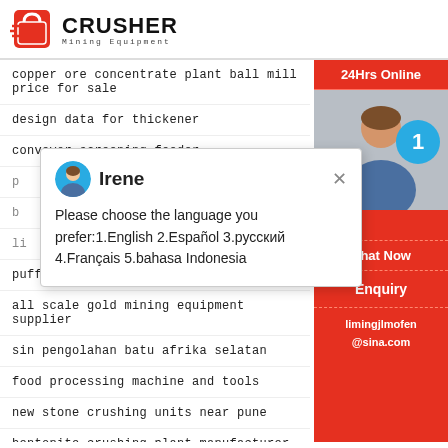[Figure (logo): Crusher Mining Equipment logo with red shopping bag icon and bold CRUSHER text]
copper ore concentrate plant ball mill price for sale
design data for thickener
conveyor screening feeder
p...
b...
li...
puffed rice making machine
all scale gold mining equipment supplier
sin pengolahan batu afrika selatan
food processing machine and tools
new stone crushing units near pune
bentonite crushing plant manufacturer in gujarat
[Figure (screenshot): Chat popup with agent Irene asking to choose language: 1.English 2.Español 3.русский 4.Français 5.bahasa Indonesia]
[Figure (infographic): Red sidebar with 24Hrs Online button, agent photo, notification bubble with 1, Chat Now button, Enquiry button, limingjlmofen@sina.com email]